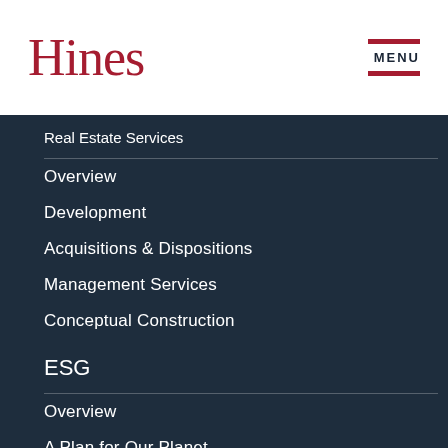Hines
Real Estate Services
Overview
Development
Acquisitions & Dispositions
Management Services
Conceptual Construction
ESG
Overview
A Plan for Our Planet
Environmental Stewardship
Social: Our People & Communities